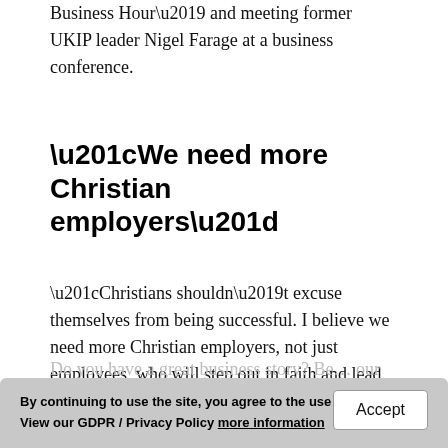Business Hour’ and meeting former UKIP leader Nigel Farage at a business conference.
“We need more Christian employers”
“Christians shouldn’t excuse themselves from being successful. I believe we need more Christian employers, not just employees, who will step out in faith and lead people in an ethical direction. I believe goals are created twice – first in your head, then in reality. With God all things are possible!”
Do you have a great business story? Be... our website.
By continuing to use the site, you agree to the use of cookies. View our GDPR / Privacy Policy more information
Accept